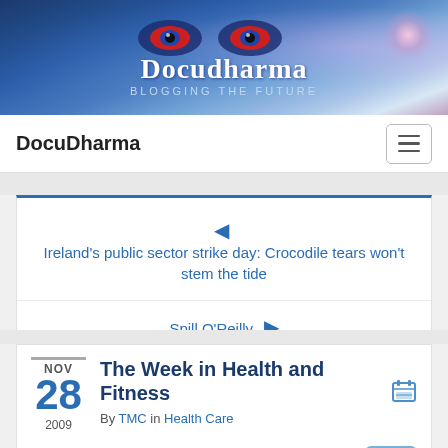[Figure (illustration): DocuDharma website banner with stylized eyes, ripple water background, logo text 'DocuDharma' and tagline 'BLOGGING THE FUTURE' in blue tones with a pink lens flare]
DocuDharma
Ireland's public sector strike day: Crocodile tears won't stem the tide
Spill O'Reilly
The Week in Health and Fitness
By TMC in Health Care
NOV 28 2009
Tweet
(noon. – promoted by ek hornbeck)